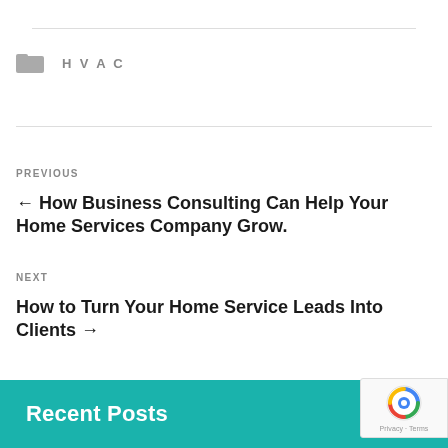HVAC
PREVIOUS
← How Business Consulting Can Help Your Home Services Company Grow.
NEXT
How to Turn Your Home Service Leads Into Clients →
Recent Posts